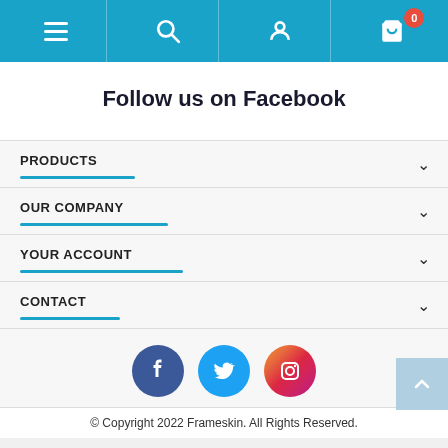Navigation bar with menu, search, user account, and cart (0 items)
Follow us on Facebook
PRODUCTS
OUR COMPANY
YOUR ACCOUNT
CONTACT
[Figure (illustration): Social media icons: Facebook (blue circle), Twitter (light blue circle), Instagram (gradient circle)]
© Copyright 2022 Frameskin. All Rights Reserved.